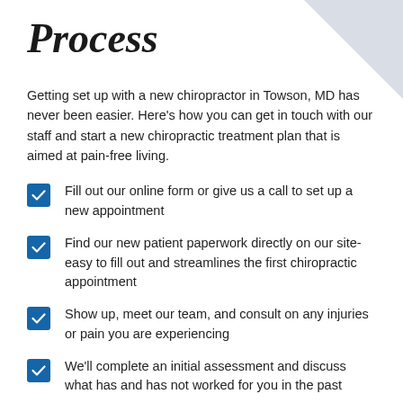Process
Getting set up with a new chiropractor in Towson, MD has never been easier. Here's how you can get in touch with our staff and start a new chiropractic treatment plan that is aimed at pain-free living.
Fill out our online form or give us a call to set up a new appointment
Find our new patient paperwork directly on our site- easy to fill out and streamlines the first chiropractic appointment
Show up, meet our team, and consult on any injuries or pain you are experiencing
We'll complete an initial assessment and discuss what has and has not worked for you in the past
You'll receive an initial treatment recommendation